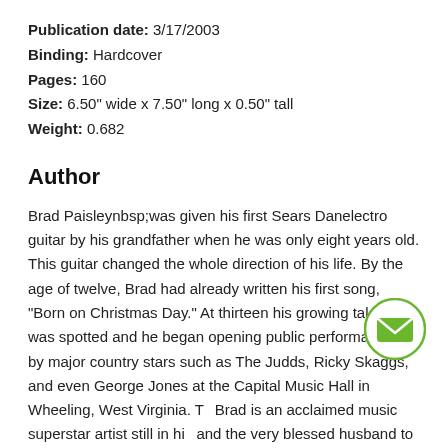Publication date: 3/17/2003
Binding: Hardcover
Pages: 160
Size: 6.50" wide x 7.50" long x 0.50" tall
Weight: 0.682
Author
Brad Paisleynbsp;was given his first Sears Danelectro guitar by his grandfather when he was only eight years old. This guitar changed the whole direction of his life. By the age of twelve, Brad had already written his first song, "Born on Christmas Day." At thirteen his growing talent was spotted and he began opening public performances by major country stars such as The Judds, Ricky Skaggs, and even George Jones at the Capital Music Hall in Wheeling, West Virginia. T… Brad is an acclaimed music superstar artist still in hi… and the very blessed husband to the lovely and talent… actress Kimberly Williams Paisley (whom Brad fell for the moment he saw her onscreen in Father of...  More ∨